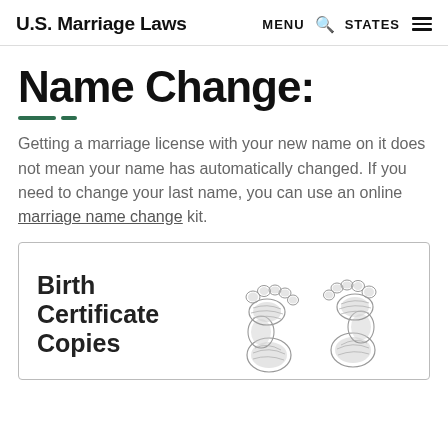U.S. Marriage Laws  MENU  🔍  STATES  ≡
Name Change:
Getting a marriage license with your new name on it does not mean your name has automatically changed. If you need to change your last name, you can use an online marriage name change kit.
[Figure (illustration): Card with bold text 'Birth Certificate Copies' on the left and two baby footprints illustration on the right, inside a bordered box.]